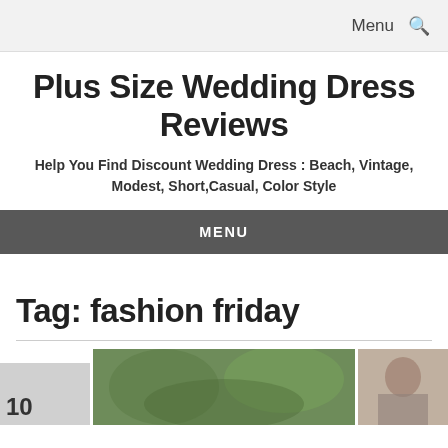Menu
Plus Size Wedding Dress Reviews
Help You Find Discount Wedding Dress : Beach, Vintage, Modest, Short,Casual, Color Style
MENU
Tag: fashion friday
[Figure (photo): Three images at the bottom: a gray placeholder with a number, a main photo of a person in a garden/outdoor setting with greenery, and a right photo with a person.]